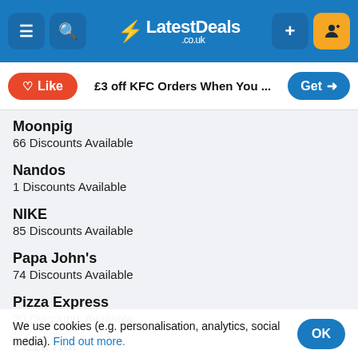LatestDeals.co.uk
£3 off KFC Orders When You ...
Moonpig
66 Discounts Available
Nandos
1 Discounts Available
NIKE
85 Discounts Available
Papa John's
74 Discounts Available
Pizza Express
20 Discounts Available
Pizza Hut
63 Discounts Available
Uber Eats
47 Discounts Available
Yo! Sushi
10 Discounts Available
We use cookies (e.g. personalisation, analytics, social media). Find out more.